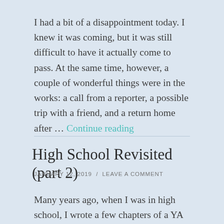I had a bit of a disappointment today.  I knew it was coming, but it was still difficult to have it actually come to pass. At the same time, however, a couple of wonderful things were in the works: a call from a reporter, a possible trip with a friend, and a return home after … Continue reading
High School Revisited (part 2)
JANUARY 12, 2019  /  LEAVE A COMMENT
Many years ago, when I was in high school, I wrote a few chapters of a YA novel. I was sure at the time that my